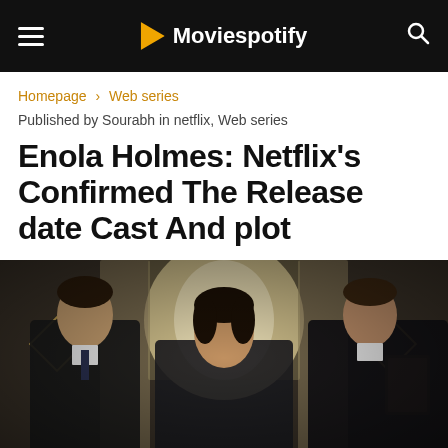Moviespotify
Homepage › Web series
Published by Sourabh in netflix, Web series
Enola Holmes: Netflix's Confirmed The Release date Cast And plot
[Figure (photo): Three actors from Enola Holmes standing in front of a window with curtains; a man on the left in dark suit, a young woman in the center, and a man on the right in formal attire, in a Victorian-era room setting.]